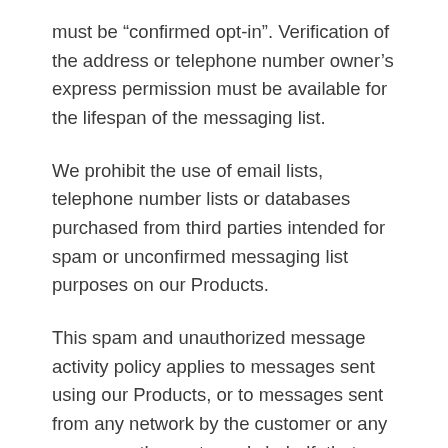must be “confirmed opt-in”. Verification of the address or telephone number owner’s express permission must be available for the lifespan of the messaging list.
We prohibit the use of email lists, telephone number lists or databases purchased from third parties intended for spam or unconfirmed messaging list purposes on our Products.
This spam and unauthorized message activity policy applies to messages sent using our Products, or to messages sent from any network by the customer or any person on the customer’s behalf, that directly or indirectly refer the recipient to a site hosted via our Products.
Unethical soliciting and